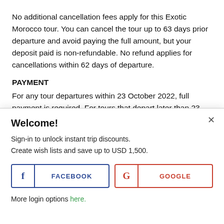No additional cancellation fees apply for this Exotic Morocco tour. You can cancel the tour up to 63 days prior departure and avoid paying the full amount, but your deposit paid is non-refundable. No refund applies for cancellations within 62 days of departure.
PAYMENT
For any tour departures within 23 October 2022, full payment is required. For tours that depart later than 23 October 2022, a deposit of 80 USD is required to confirm the tour, and the
Welcome!
Sign-in to unlock instant trip discounts.
Create wish lists and save up to USD 1,500.
FACEBOOK
GOOGLE
More login options here.